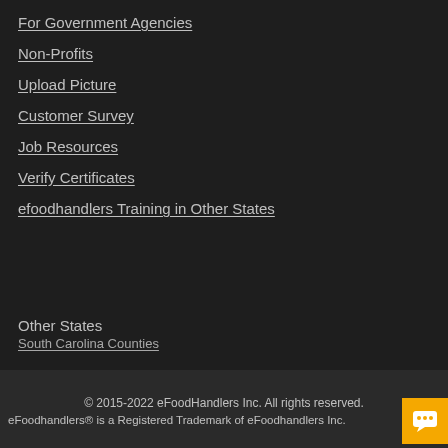For Government Agencies
Non-Profits
Upload Picture
Customer Survey
Job Resources
Verify Certificates
efoodhandlers Training in Other States
Other States
South Carolina Counties
© 2015-2022 eFoodHandlers Inc. All rights reserved.
eFoodhandlers® is a Registered Trademark of eFoodhandlers Inc.